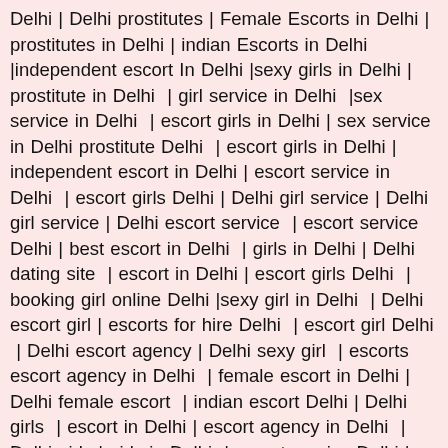Delhi | Delhi prostitutes | Female Escorts in Delhi | prostitutes in Delhi | indian Escorts in Delhi |independent escort In Delhi |sexy girls in Delhi | prostitute in Delhi | girl service in Delhi |sex service in Delhi | escort girls in Delhi | sex service in Delhi prostitute Delhi | escort girls in Delhi | independent escort in Delhi | escort service in Delhi | escort girls Delhi | Delhi girl service | Delhi girl service | Delhi escort service | escort service Delhi | best escort in Delhi | girls in Delhi | Delhi dating site | escort in Delhi | escort girls Delhi | booking girl online Delhi |sexy girl in Delhi | Delhi escort girl | escorts for hire Delhi | escort girl Delhi | Delhi escort agency | Delhi sexy girl | escorts escort agency in Delhi | female escort in Delhi | Delhi female escort | indian escort Delhi | Delhi girls | escort in Delhi | escort agency in Delhi | Delhi girls | girls in Delhi | escort service Delhi | escort Delhi | girl in Delhi | Delhi dating | 69 escort Delhi | indian escorts in Delhi Delhi Escorts Agency, Delhi Escorts Service, Delhi Independent Escorts, Delhi Female Escorts, Delhi Model Escorts, Delhi Sexy Escorts